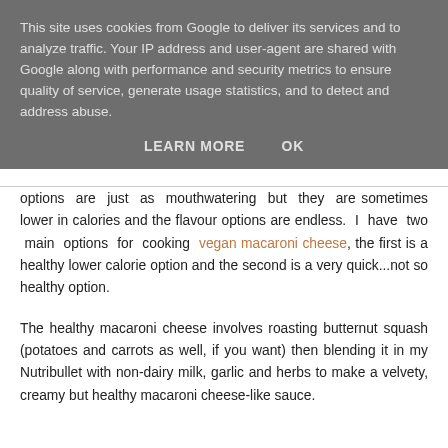This site uses cookies from Google to deliver its services and to analyze traffic. Your IP address and user-agent are shared with Google along with performance and security metrics to ensure quality of service, generate usage statistics, and to detect and address abuse.
LEARN MORE   OK
options are just as mouthwatering but they are sometimes lower in calories and the flavour options are endless. I have two main options for cooking vegan macaroni cheese, the first is a healthy lower calorie option and the second is a very quick...not so healthy option.
The healthy macaroni cheese involves roasting butternut squash (potatoes and carrots as well, if you want) then blending it in my Nutribullet with non-dairy milk, garlic and herbs to make a velvety, creamy but healthy macaroni cheese-like sauce.